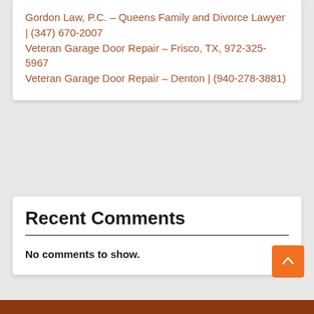Gordon Law, P.C. – Queens Family and Divorce Lawyer | (347) 670-2007
Veteran Garage Door Repair – Frisco, TX, 972-325-5967
Veteran Garage Door Repair – Denton | (940-278-3881)
Recent Comments
No comments to show.